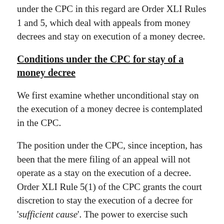under the CPC in this regard are Order XLI Rules 1 and 5, which deal with appeals from money decrees and stay on execution of a money decree.
Conditions under the CPC for stay of a money decree
We first examine whether unconditional stay on the execution of a money decree is contemplated in the CPC.
The position under the CPC, since inception, has been that the mere filing of an appeal will not operate as a stay on the execution of a decree. Order XLI Rule 5(1) of the CPC grants the court discretion to stay the execution of a decree for 'sufficient cause'. The power to exercise such discretion is subject to the court being satisfied that the following conditions, laid down in